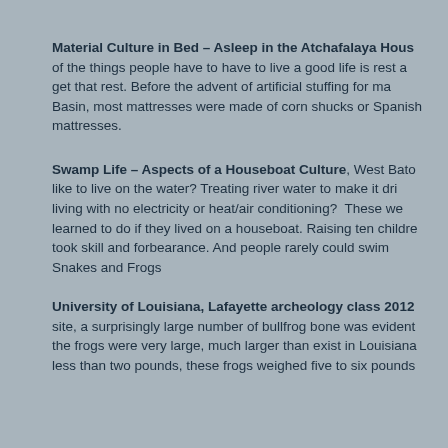Material Culture in Bed – Asleep in the Atchafalaya Hous of the things people have to have to live a good life is rest a get that rest. Before the advent of artificial stuffing for ma Basin, most mattresses were made of corn shucks or Spanish mattresses.
Swamp Life – Aspects of a Houseboat Culture, West Bato like to live on the water? Treating river water to make it dri living with no electricity or heat/air conditioning? These we learned to do if they lived on a houseboat. Raising ten childre took skill and forbearance. And people rarely could swim Snakes and Frogs
University of Louisiana, Lafayette archeology class 2012 site, a surprisingly large number of bullfrog bone was evident the frogs were very large, much larger than exist in Louisiana less than two pounds, these frogs weighed five to six pounds